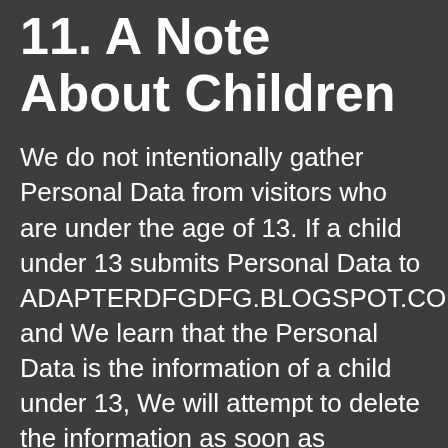11. A Note About Children
We do not intentionally gather Personal Data from visitors who are under the age of 13. If a child under 13 submits Personal Data to ADAPTERDFGDFG.BLOGSPOT.COM and We learn that the Personal Data is the information of a child under 13, We will attempt to delete the information as soon as possible. If You believe that We might have any Personal Data from a child under 13, please contact Us at support@CONTRIB.com